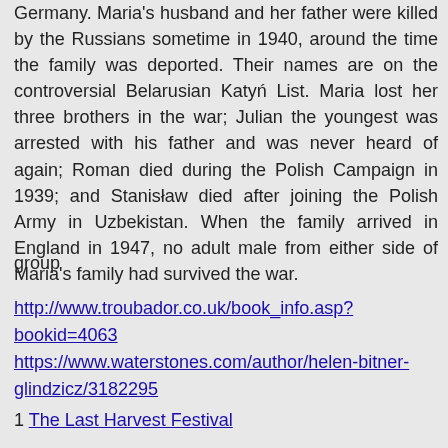Germany. Maria's husband and her father were killed by the Russians sometime in 1940, around the time the family was deported. Their names are on the controversial Belarusian Katyń List. Maria lost her three brothers in the war; Julian the youngest was arrested with his father and was never heard of again; Roman died during the Polish Campaign in 1939; and Stanisław died after joining the Polish Army in Uzbekistan. When the family arrived in England in 1947, no adult male from either side of Maria's family had survived the war.
group
http://www.troubador.co.uk/book_info.asp?bookid=4063
https://www.waterstones.com/author/helen-bitner-glindzicz/3182295
1 The Last Harvest Festival